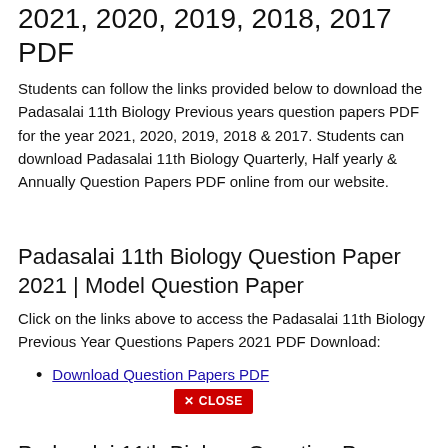2021, 2020, 2019, 2018, 2017 PDF
Students can follow the links provided below to download the Padasalai 11th Biology Previous years question papers PDF for the year 2021, 2020, 2019, 2018 & 2017. Students can download Padasalai 11th Biology Quarterly, Half yearly & Annually Question Papers PDF online from our website.
Padasalai 11th Biology Question Paper 2021 | Model Question Paper
Click on the links above to access the Padasalai 11th Biology Previous Year Questions Papers 2021 PDF Download:
Download Question Papers PDF
Padasalai 11th Biology Question Paper 2020 | Model Question Paper
Click on the links above to access the Padasalai 11th Biology Previous